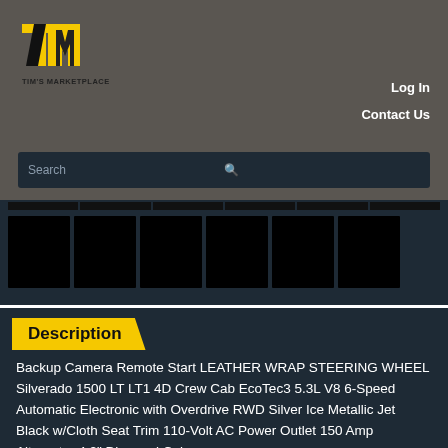[Figure (logo): Tim's Marketplace logo — yellow TM letters with black accents, text 'TIM'S MARKETPLACE' below]
Log In
Contact Us
Search
[Figure (screenshot): Navigation category thumbnail strip with dark background and black image placeholders]
Description
Backup Camera Remote Start LEATHER WRAP STEERING WHEEL Silverado 1500 LT LT1 4D Crew Cab EcoTec3 5.3L V8 6-Speed Automatic Electronic with Overdrive RWD Silver Ice Metallic Jet Black w/Cloth Seat Trim 110-Volt AC Power Outlet 150 Amp Alternator 4.2" Diagonal Color